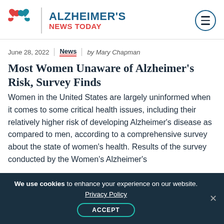ALZHEIMER'S NEWS TODAY
June 28, 2022 | News | by Mary Chapman
Most Women Unaware of Alzheimer's Risk, Survey Finds
Women in the United States are largely uninformed when it comes to some critical health issues, including their relatively higher risk of developing Alzheimer's disease as compared to men, according to a comprehensive survey about the state of women's health. Results of the survey conducted by the Women's Alzheimer's
We use cookies to enhance your experience on our website. Privacy Policy ACCEPT